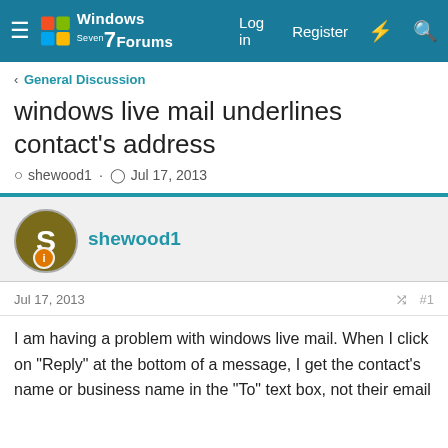Windows 7 Forums — Log in  Register
< General Discussion
windows live mail underlines contact's address
shewood1 · Jul 17, 2013
shewood1
Jul 17, 2013  #1
I am having a problem with windows live mail. When I click on "Reply" at the bottom of a message, I get the contact's name or business name in the "To" text box, not their email